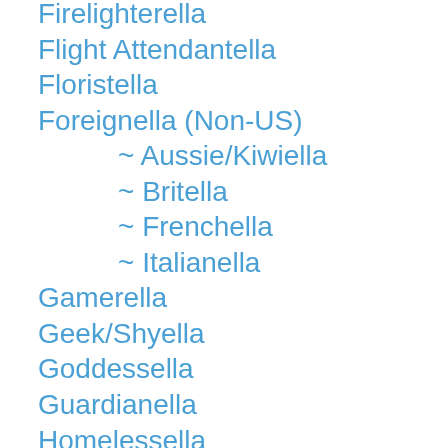Firelighterella
Flight Attendantella
Floristella
Foreignella (Non-US)
~ Aussie/Kiwiella
~ Britella
~ Frenchella
~ Italianella
Gamerella
Geek/Shyella
Goddessella
Guardianella
Homelessella
Internella
Jiltedella
Journalist/Reporterella
Lifeguard/Surferella
Mafia/Mobella
Maidella
Martial Artsella